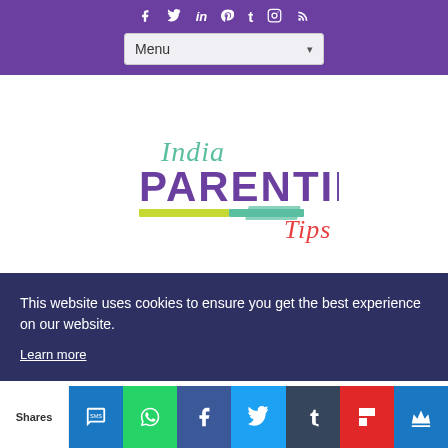Social media navigation icons and Menu dropdown
[Figure (logo): India Parenting Tips logo with cursive India text, bold purple PARENTING text, and red cursive Tips, with yellow-green and teal underline bars]
This website uses cookies to ensure you get the best experience on our website. Learn more
Shares [SMS] [WhatsApp] [Facebook] [Twitter] [Tumblr] [Flipboard] [King]